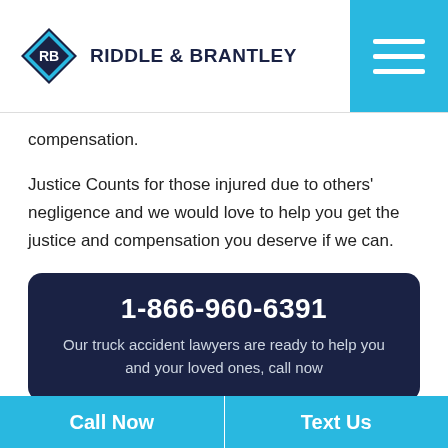RIDDLE & BRANTLEY
compensation.
Justice Counts for those injured due to others' negligence and we would love to help you get the justice and compensation you deserve if we can.
1-866-960-6391
Our truck accident lawyers are ready to help you and your loved ones, call now
Call Now
Text Us